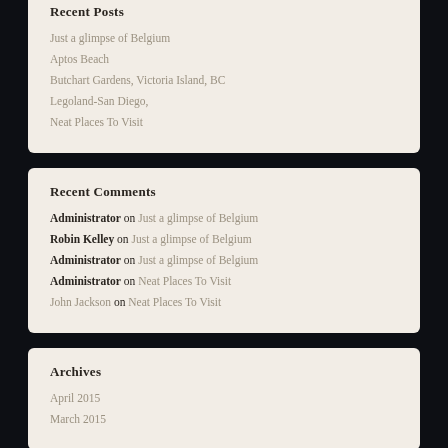Recent Posts
Just a glimpse of Belgium
Aptos Beach
Butchart Gardens, Victoria Island, BC
Legoland-San Diego,
Neat Places To Visit
Recent Comments
Administrator on Just a glimpse of Belgium
Robin Kelley on Just a glimpse of Belgium
Administrator on Just a glimpse of Belgium
Administrator on Neat Places To Visit
John Jackson on Neat Places To Visit
Archives
April 2015
March 2015